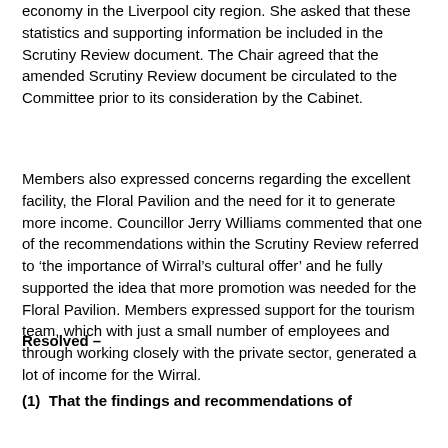economy in the Liverpool city region. She asked that these statistics and supporting information be included in the Scrutiny Review document. The Chair agreed that the amended Scrutiny Review document be circulated to the Committee prior to its consideration by the Cabinet.
Members also expressed concerns regarding the excellent facility, the Floral Pavilion and the need for it to generate more income. Councillor Jerry Williams commented that one of the recommendations within the Scrutiny Review referred to ‘the importance of Wirral’s cultural offer’ and he fully supported the idea that more promotion was needed for the Floral Pavilion. Members expressed support for the tourism team, which with just a small number of employees and through working closely with the private sector, generated a lot of income for the Wirral.
Resolved –
(1) That the findings and recommendations of